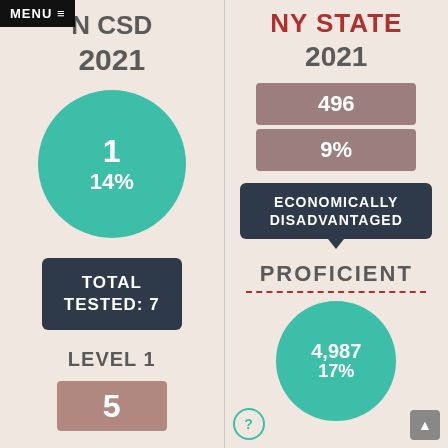MENU ≡
N CSD
2021
[Figure (infographic): Teal circle showing 1 and 14%]
TOTAL TESTED: 7
LEVEL 1
5
NY STATE
2021
496
9%
ECONOMICALLY DISADVANTAGED
PROFICIENT
[Figure (infographic): Teal circle showing 4,987 and 17%]